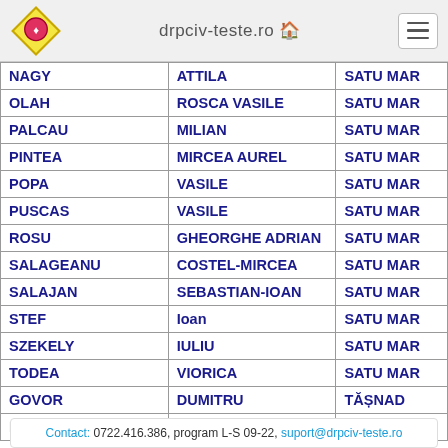drpciv-teste.ro
| Last Name | First Name | City |
| --- | --- | --- |
| NAGY | ATTILA | SATU MAR |
| OLAH | ROSCA VASILE | SATU MAR |
| PALCAU | MILIAN | SATU MAR |
| PINTEA | MIRCEA AUREL | SATU MAR |
| POPA | VASILE | SATU MAR |
| PUSCAS | VASILE | SATU MAR |
| ROSU | GHEORGHE ADRIAN | SATU MAR |
| SALAGEANU | COSTEL-MIRCEA | SATU MAR |
| SALAJAN | SEBASTIAN-IOAN | SATU MAR |
| STEF | IOAN | SATU MAR |
| SZEKELY | IULIU | SATU MAR |
| TODEA | VIORICA | SATU MAR |
| GOVOR | DUMITRU | TĂȘNAD |
| BETEA | DUMITRU | VAMA |
Contact: 0722.416.386, program L-S 09-22, suport@drpciv-teste.ro